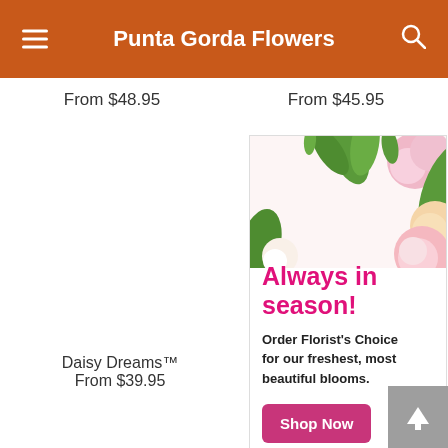Punta Gorda Flowers
From $48.95
From $45.95
[Figure (illustration): Promotional banner ad for Florist's Choice flowers. Shows pink and white roses with green foliage. Text reads: Always in season! Order Florist's Choice for our freshest, most beautiful blooms. Shop Now button.]
Daisy Dreams™
From $39.95